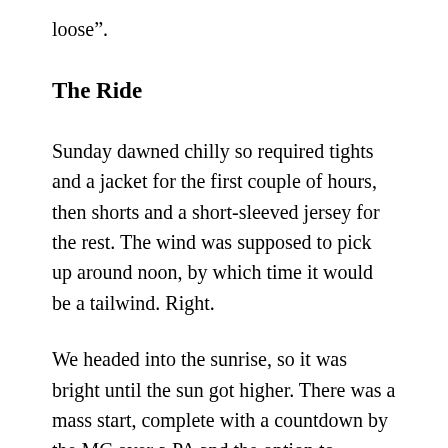loose”.
The Ride
Sunday dawned chilly so required tights and a jacket for the first couple of hours, then shorts and a short-sleeved jersey for the rest. The wind was supposed to pick up around noon, by which time it would be a tailwind. Right.
We headed into the sunrise, so it was bright until the sun got higher. There was a mass start, complete with a countdown by the MC over a PA and the option to download a tracking app so folks could know where you